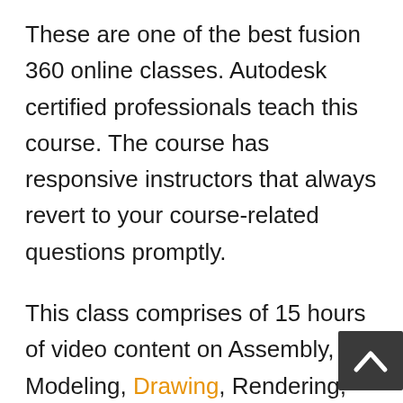These are one of the best fusion 360 online classes. Autodesk certified professionals teach this course. The course has responsive instructors that always revert to your course-related questions promptly.
This class comprises of 15 hours of video content on Assembly, Modeling, Drawing, Rendering, and Animation workspaces. In addition, you will see commands and tools explained with real-life assemblies, parts, and drawings.